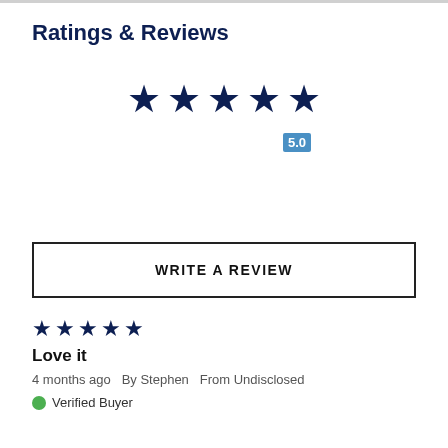Ratings & Reviews
[Figure (other): Five filled dark navy star icons representing a 5-star rating, with a blue badge showing '5.0' to the right]
WRITE A REVIEW
[Figure (other): Five filled dark navy star icons representing a 5-star rating for the review]
Love it
4 months ago  By Stephen  From Undisclosed
Verified Buyer